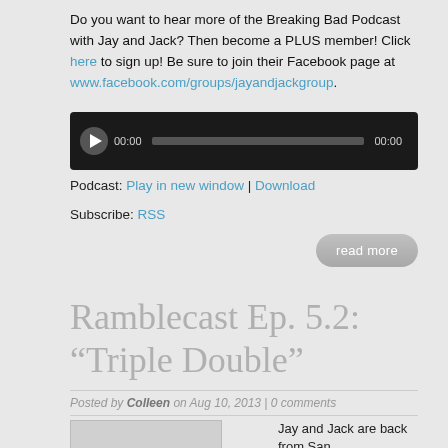Do you want to hear more of the Breaking Bad Podcast with Jay and Jack? Then become a PLUS member! Click here to sign up! Be sure to join their Facebook page at www.facebook.com/groups/jayandjackgroup.
[Figure (other): Audio player widget with play button, time display 00:00, progress bar, and end time 00:00 on dark background]
Podcast: Play in new window | Download
Subscribe: RSS
read more
Ramblecast Ep. 5.2: “Triple Double”
Posted by Colleen on Aug 10, 2013 | 0 comments
Jay and Jack are back from San